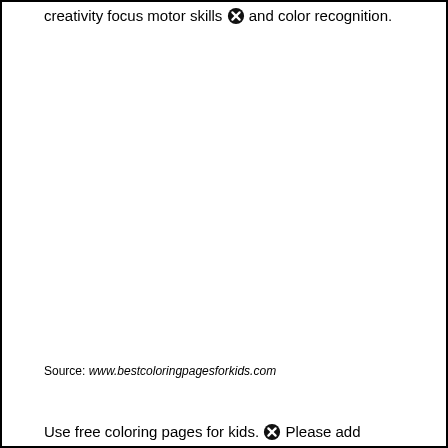creativity focus motor skills and color recognition.
Source: www.bestcoloringpagesforkids.com
Use free coloring pages for kids. Please add...